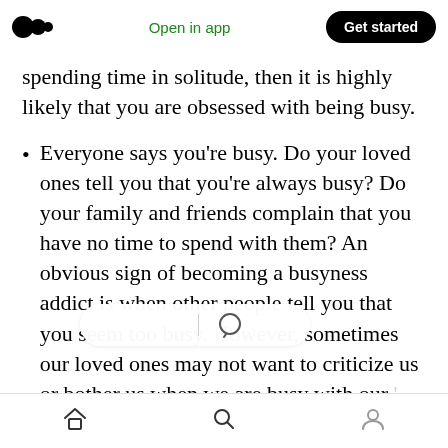Open in app | Get started
spending time in solitude, then it is highly likely that you are obsessed with being busy.
Everyone says you’re busy. Do your loved ones tell you that you’re always busy? Do your family and friends complain that you have no time to spend with them? An obvious sign of becoming a busyness addict is when other people tell you that you seem too busy. However, sometimes our loved ones may not want to criticize us or bother us when we are busy with our ‘ it can be a good idea to ask your friends and family what they
Home | Search | Profile